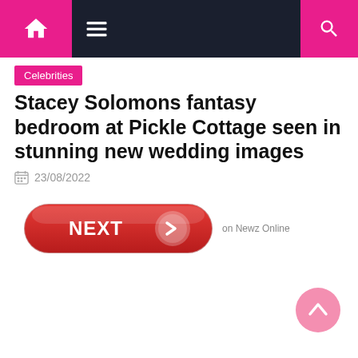Navigation bar with home, menu, and search icons
Celebrities
Stacey Solomons fantasy bedroom at Pickle Cottage seen in stunning new wedding images
23/08/2022
[Figure (other): Red pill-shaped NEXT button with arrow icon, labeled 'on Newz Online']
[Figure (other): Pink circular scroll-to-top button with upward chevron arrow]